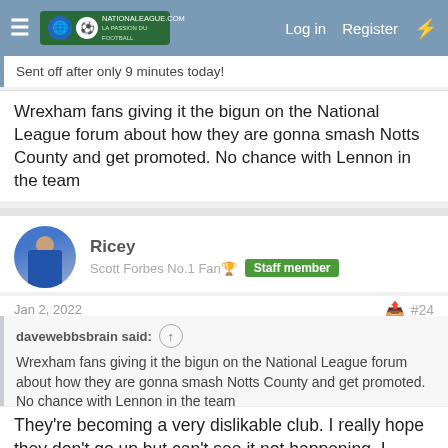Log in  Register
Sent off after only 9 minutes today!
Wrexham fans giving it the bigun on the National League forum about how they are gonna smash Notts County and get promoted. No chance with Lennon in the team
Ricey
Scott Forbes No.1 Fan🏆  Staff member
Jan 2, 2022  #24
davewebbsbrain said:
Wrexham fans giving it the bigun on the National League forum about how they are gonna smash Notts County and get promoted. No chance with Lennon in the team
They're becoming a very dislikable club. I really hope they don't go up but can't see it not happening. I expect they'll spend big again.
davewebbsbrain
Webby🏆